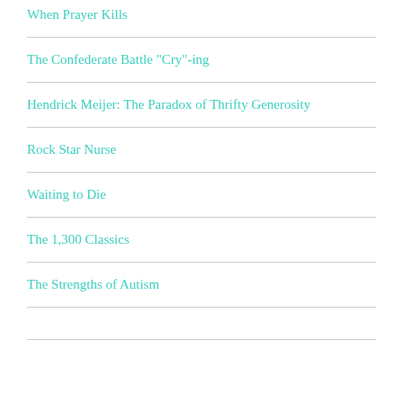When Prayer Kills
The Confederate Battle "Cry"-ing
Hendrick Meijer: The Paradox of Thrifty Generosity
Rock Star Nurse
Waiting to Die
The 1,300 Classics
The Strengths of Autism